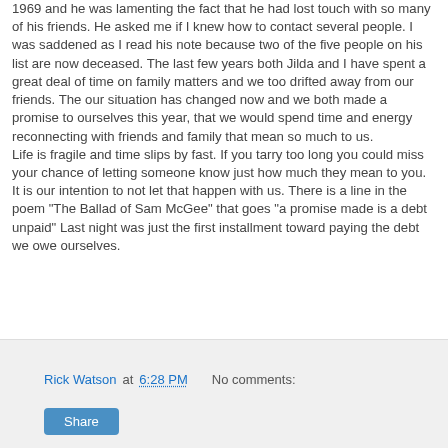1969 and he was lamenting the fact that he had lost touch with so many of his friends. He asked me if I knew how to contact several people. I was saddened as I read his note because two of the five people on his list are now deceased. The last few years both Jilda and I have spent a great deal of time on family matters and we too drifted away from our friends. The our situation has changed now and we both made a promise to ourselves this year, that we would spend time and energy reconnecting with friends and family that mean so much to us. Life is fragile and time slips by fast. If you tarry too long you could miss your chance of letting someone know just how much they mean to you. It is our intention to not let that happen with us. There is a line in the poem "The Ballad of Sam McGee" that goes "a promise made is a debt unpaid" Last night was just the first installment toward paying the debt we owe ourselves.
Rick Watson at 6:28 PM   No comments:   Share